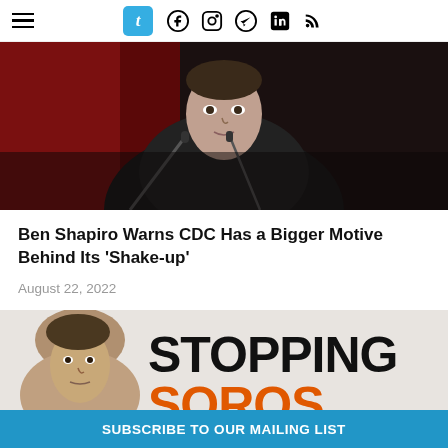Navigation bar with hamburger menu, Tumblr icon, Facebook, Instagram, Telegram, LinkedIn, RSS icons
[Figure (photo): Close-up photo of Ben Shapiro at a podium with microphones, dark background with red lighting]
Ben Shapiro Warns CDC Has a Bigger Motive Behind Its 'Shake-up'
August 22, 2022
[Figure (photo): Banner image with a man's face on the left and text reading STOPPING SOROS in large bold letters, black and orange]
SUBSCRIBE TO OUR MAILING LIST